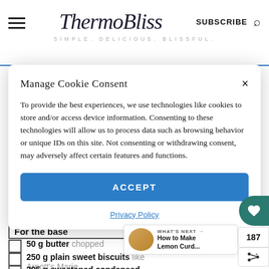ThermoBliss — SIMPLE. DELICIOUS. BLISSFUL.
Manage Cookie Consent
To provide the best experiences, we use technologies like cookies to store and/or access device information. Consenting to these technologies will allow us to process data such as browsing behavior or unique IDs on this site. Not consenting or withdrawing consent, may adversely affect certain features and functions.
ACCEPT
Privacy Policy
For the base
50 g butter chopped
250 g plain sweet biscuits like Arnott's Marie
395 g sweetened condensed milk